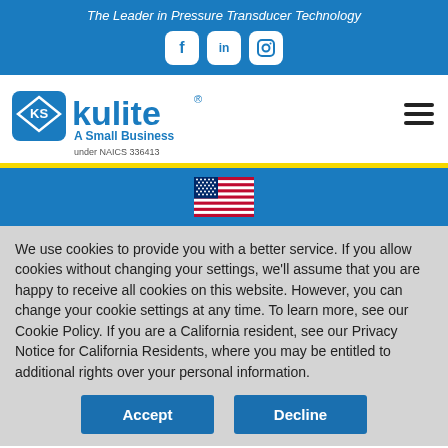The Leader in Pressure Transducer Technology
[Figure (logo): Kulite logo with KS diamond emblem, text 'kulite', registered trademark symbol, tagline 'A Small Business under NAICS 336413']
[Figure (illustration): American flag illustration]
We use cookies to provide you with a better service. If you allow cookies without changing your settings, we'll assume that you are happy to receive all cookies on this website. However, you can change your cookie settings at any time. To learn more, see our Cookie Policy.  If you are a California resident, see our Privacy Notice for California Residents, where you may be entitled to additional rights over your personal information.
Accept | Decline